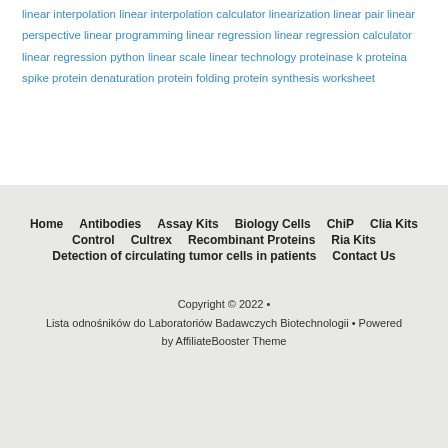linear interpolation linear interpolation calculator linearization linear pair linear perspective linear programming linear regression linear regression calculator linear regression python linear scale linear technology proteinase k proteina spike protein denaturation protein folding protein synthesis worksheet
Home  Antibodies  Assay Kits  Biology Cells  ChiP  Clia Kits  Control  Cultrex  Recombinant Proteins  Ria Kits  Detection of circulating tumor cells in patients  Contact Us
Copyright © 2022 • Lista odnośników do Laboratoriów Badawczych Biotechnologii • Powered by AffiliateBooster Theme